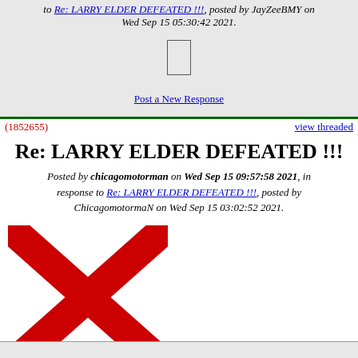to Re: LARRY ELDER DEFEATED !!!, posted by JayZeeBMY on Wed Sep 15 05:30:42 2021.
[Figure (other): Broken image placeholder (rectangle outline)]
Post a New Response
(1852655)
view threaded
Re: LARRY ELDER DEFEATED !!!
Posted by chicagomotorman on Wed Sep 15 09:57:58 2021, in response to Re: LARRY ELDER DEFEATED !!!, posted by ChicagomotormaN on Wed Sep 15 03:02:52 2021.
[Figure (other): Red X broken image icon]
Post a New Response